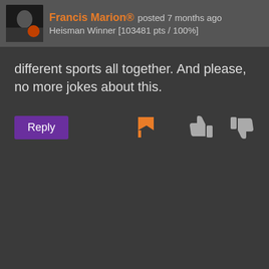Francis Marion® posted 7 months ago Heisman Winner [103481 pts / 100%]
different sports all together. And please, no more jokes about this.
[Figure (screenshot): Action buttons row: Reply button (purple), flag icon (orange), thumbs down and thumbs up icons (gray)]